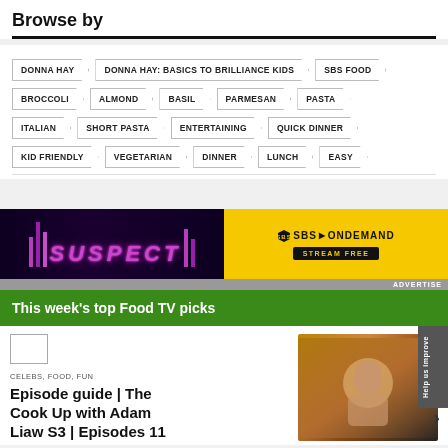Browse by
DONNA HAY
DONNA HAY: BASICS TO BRILLIANCE KIDS
SBS FOOD
BROCCOLI
ALMOND
BASIL
PARMESAN
PASTA
ITALIAN
SHORT PASTA
ENTERTAINING
QUICK DINNER
KID FRIENDLY
VEGETARIAN
DINNER
LUNCH
EASY
[Figure (screenshot): SBS On Demand advertisement banner showing SUSPECT show with purple neon lighting on left and yellow SBS On Demand logo with Stream Free button on right]
This week's top Food TV picks
CELEBS, FOOD, FUN
Episode guide | The Cook Up with Adam Liaw S3 | Episodes 11